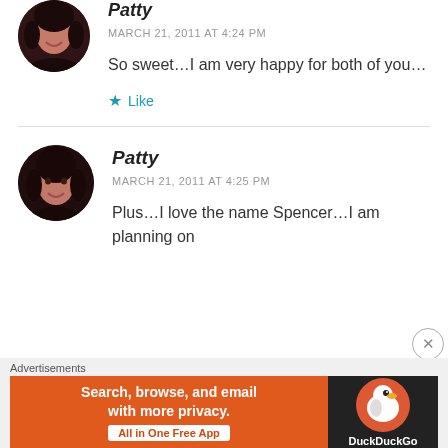[Figure (photo): Circular avatar photo of a woman with dark hair against dark background (top, partially cut off)]
Patty
MARCH 21, 2011 AT 4:24 PM
So sweet…I am very happy for both of you…
★ Like
[Figure (photo): Circular avatar photo of a woman with dark hair, smiling]
Patty
MARCH 21, 2011 AT 4:25 PM
Plus…I love the name Spencer…I am planning on
Advertisements
[Figure (infographic): DuckDuckGo advertisement banner: 'Search, browse, and email with more privacy. All in One Free App' with DuckDuckGo logo on dark background]